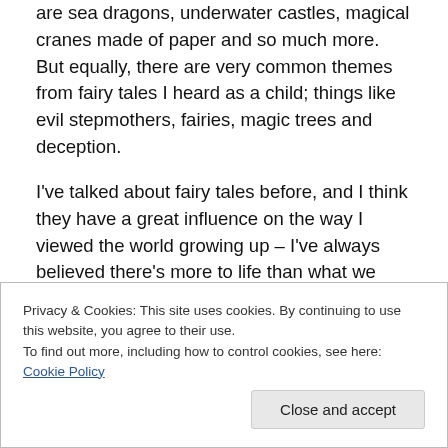are sea dragons, underwater castles, magical cranes made of paper and so much more.  But equally, there are very common themes from fairy tales I heard as a child; things like evil stepmothers, fairies, magic trees and deception.
I've talked about fairy tales before, and I think they have a great influence on the way I viewed the world growing up – I've always believed there's more to life than what we see, as though there's a hidden world just out of the reach of our perception.  As an adult I guess that's spirituality or fate, but as a child I think fairy tales gave their own magic
Privacy & Cookies: This site uses cookies. By continuing to use this website, you agree to their use.
To find out more, including how to control cookies, see here: Cookie Policy